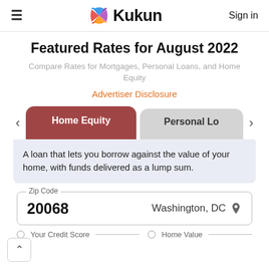≡  Kukun  Sign in
Featured Rates for August 2022
Compare Rates for Mortgages, Personal Loans, and Home Equity
Advertiser Disclosure
[Figure (screenshot): Tab navigation with 'Home Equity' active (dark red) and 'Personal Lo...' tab partially visible, with left and right navigation arrows]
A loan that lets you borrow against the value of your home, with funds delivered as a lump sum.
Zip Code  20068  Washington, DC
Your Credit Score  Home Value